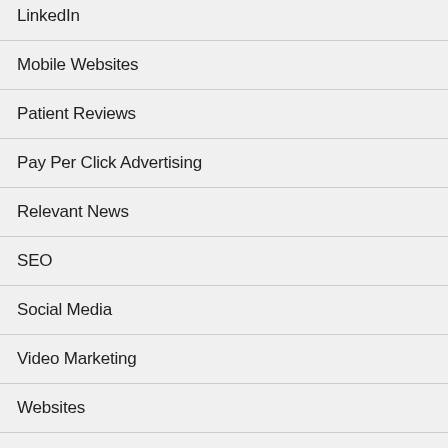LinkedIn
Mobile Websites
Patient Reviews
Pay Per Click Advertising
Relevant News
SEO
Social Media
Video Marketing
Websites
YouTube